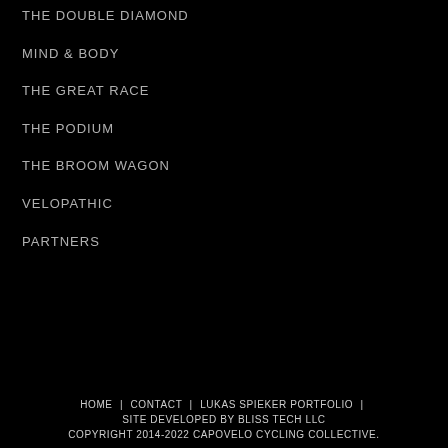THE DOUBLE DIAMOND
MIND & BODY
THE GREAT RACE
THE PODIUM
THE BROOM WAGON
VELOPATHIC
PARTNERS
HOME | CONTACT | LUKAS SPIEKER PORTFOLIO | SITE DEVELOPED BY BLISS TECH LLC COPYRIGHT 2014-2022 CAPOVELO CYCLING COLLECTIVE.